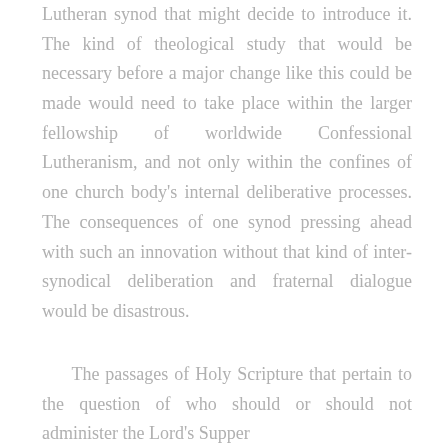Lutheran synod that might decide to introduce it. The kind of theological study that would be necessary before a major change like this could be made would need to take place within the larger fellowship of worldwide Confessional Lutheranism, and not only within the confines of one church body's internal deliberative processes. The consequences of one synod pressing ahead with such an innovation without that kind of inter-synodical deliberation and fraternal dialogue would be disastrous.
The passages of Holy Scripture that pertain to the question of who should or should not administer the Lord's Supper